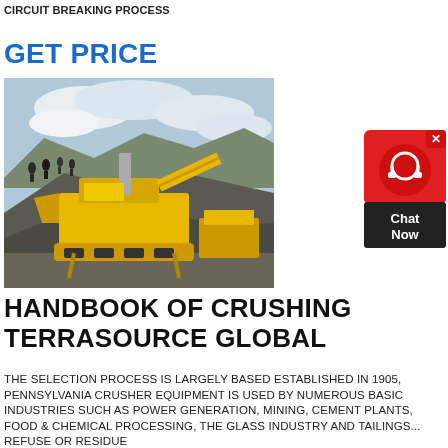CIRCUIT BREAKING PROCESS
GET PRICE
[Figure (photo): Outdoor mining/crushing equipment scene: large yellow mobile crusher/screening plant on a rocky hillside, with people standing on top of a rocky mound in the background under a cloudy sky.]
[Figure (screenshot): Chat Now widget button with headset icon on red background]
HANDBOOK OF CRUSHING TERRASOURCE GLOBAL
THE SELECTION PROCESS IS LARGELY BASED ESTABLISHED IN 1905, PENNSYLVANIA CRUSHER EQUIPMENT IS USED BY NUMEROUS BASIC INDUSTRIES SUCH AS POWER GENERATION, MINING, CEMENT PLANTS, FOOD & CHEMICAL PROCESSING, THE GLASS INDUSTRY AND TAILINGS... REFUSE OR RESIDUE